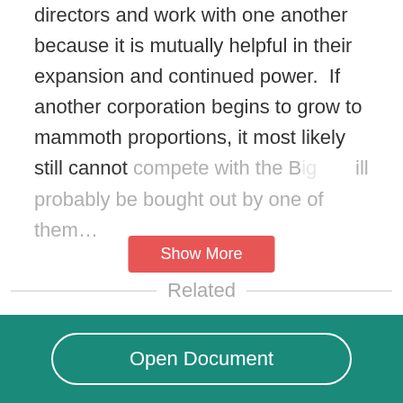directors and work with one another because it is mutually helpful in their expansion and continued power.  If another corporation begins to grow to mammoth proportions, it most likely still cannot compete with the B[ig...]  ...ill probably be bought out by one of them…
Related